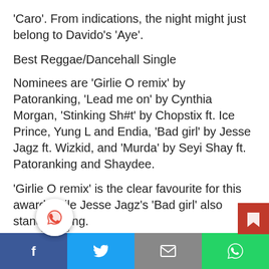'Caro'. From indications, the night might just belong to Davido's 'Aye'.
Best Reggae/Dancehall Single
Nominees are 'Girlie O remix' by Patoranking, 'Lead me on' by Cynthia Morgan, 'Stinking Sh#t' by Chopstix ft. Ice Prince, Yung L and Endia, 'Bad girl' by Jesse Jagz ft. Wizkid, and 'Murda' by Seyi Shay ft. Patoranking and Shaydee.
'Girlie O remix' is the clear favourite for this award while Jesse Jagz's 'Bad girl' also stands strong.
Best Rap Album
A non-voting category for the best album by a rap or group in year under review. Nominee